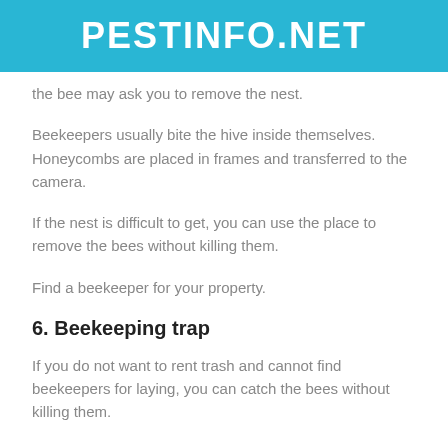PESTINFO.NET
the bee may ask you to remove the nest.
Beekeepers usually bite the hive inside themselves. Honeycombs are placed in frames and transferred to the camera.
If the nest is difficult to get, you can use the place to remove the bees without killing them.
Find a beekeeper for your property.
6. Beekeeping trap
If you do not want to rent trash and cannot find beekeepers for laying, you can catch the bees without killing them.